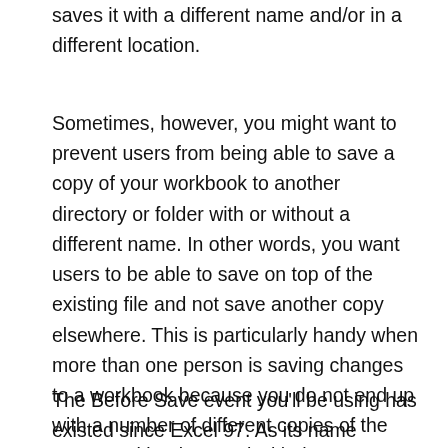saves it with a different name and/or in a different location.
Sometimes, however, you might want to prevent users from being able to save a copy of your workbook to another directory or folder with or without a different name. In other words, you want users to be able to save on top of the existing file and not save another copy elsewhere. This is particularly handy when more than one person is saving changes to a workbook because you do not end up with a number of different copies of the same workbook, saved with the same name in different folders.
The Before Save event you'll be using has existed since Excel 97. As its name suggests, this event occurs just